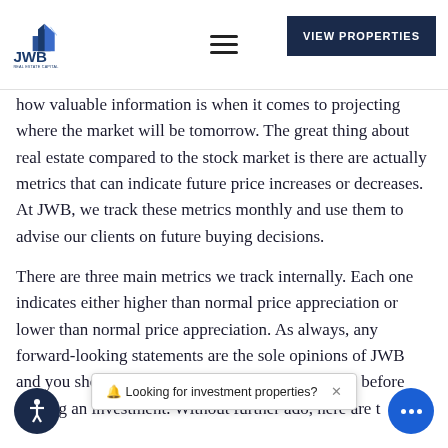JWB Real Estate Capital — VIEW PROPERTIES
how valuable information is when it comes to projecting where the market will be tomorrow. The great thing about real estate compared to the stock market is there are actually metrics that can indicate future price increases or decreases. At JWB, we track these metrics monthly and use them to advise our clients on future buying decisions.
There are three main metrics we track internally. Each one indicates either higher than normal price appreciation or lower than normal price appreciation. As always, any forward-looking statements are the sole opinions of JWB and you should always do your own due diligence before making an inves[tment. Without further ado, here are t[he three metrics]
🔔 Looking for investment properties? ×